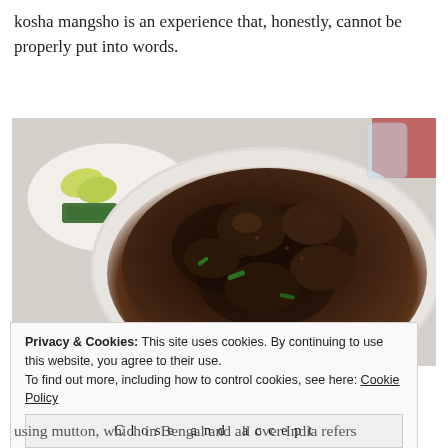kosha mangsho is an experience that, honestly, cannot be properly put into words.
[Figure (photo): A bowl of kosha mangsho (slow-cooked spiced mutton curry) in a white bowl, dark brown braised meat with green chillies visible, served on a restaurant table with lemon wedges and cucumber on a side plate in the background]
Privacy & Cookies: This site uses cookies. By continuing to use this website, you agree to their use.
To find out more, including how to control cookies, see here: Cookie Policy
Close and accept
using mutton, which in Bengal and all over India refers